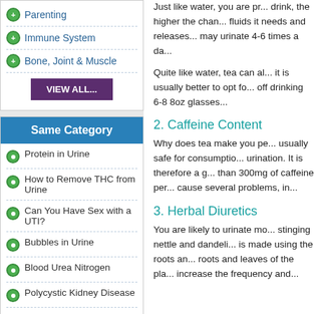Parenting
Immune System
Bone, Joint & Muscle
VIEW ALL...
Same Category
Protein in Urine
How to Remove THC from Urine
Can You Have Sex with a UTI?
Bubbles in Urine
Blood Urea Nitrogen
Polycystic Kidney Disease
What does Amorphous Sediment in Urine Mean?
Diabetes Insipidus
Just like water, you are pr... drink, the higher the chan... fluids it needs and releases... may urinate 4-6 times a da...
Quite like water, tea can al... it is usually better to opt fo... off drinking 6-8 8oz glasses...
2. Caffeine Content
Why does tea make you pe... usually safe for consumptio... urination. It is therefore a g... than 300mg of caffeine per... cause several problems, in...
3. Herbal Diuretics
You are likely to urinate mo... stinging nettle and dandeli... is made using the roots an... roots and leaves of the pla... increase the frequency and...